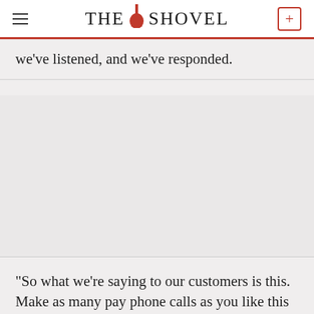THE SHOVEL
we've listened, and we've responded.
“So what we’re saying to our customers is this. Make as many pay phone calls as you like this